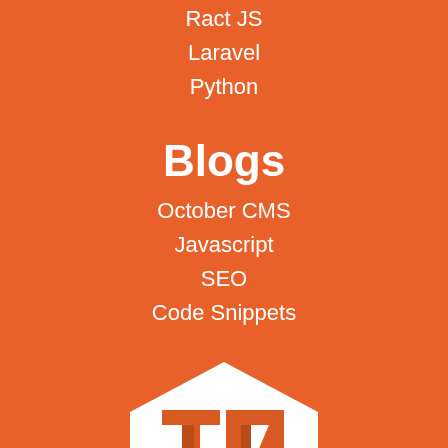Ract JS
Laravel
Python
Blogs
October CMS
Javascript
SEO
Code Snippets
[Figure (logo): Hexagonal logo with stylized TM letters in orange and white on orange background]